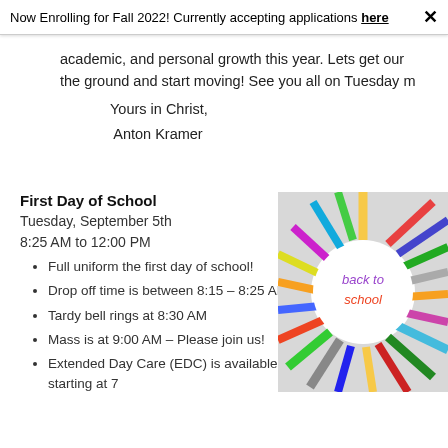Now Enrolling for Fall 2022!  Currently accepting applications here  ✕
academic, and personal growth this year.  Lets get our the ground and start moving!  See you all on Tuesday m
Yours in Christ,
 Anton Kramer
First Day of School
Tuesday, September 5th
8:25 AM to 12:00 PM
Full uniform the first day of school!
Drop off time is between 8:15 – 8:25 AM
Tardy bell rings at 8:30 AM
Mass is at 9:00 AM – Please join us!
Extended Day Care (EDC) is available starting at 7
[Figure (photo): Colored pencils arranged in a circle around text reading 'back to School' in the center, back-to-school themed image]